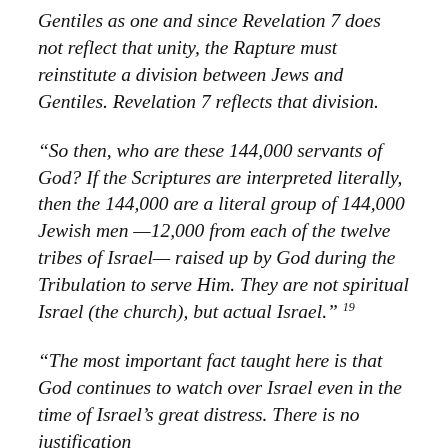Gentiles as one and since Revelation 7 does not reflect that unity, the Rapture must reinstitute a division between Jews and Gentiles. Revelation 7 reflects that division.
“So then, who are these 144,000 servants of God? If the Scriptures are interpreted literally, then the 144,000 are a literal group of 144,000 Jewish men—12,000 from each of the twelve tribes of Israel—raised up by God during the Tribulation to serve Him. They are not spiritual Israel (the church), but actual Israel.” 19
“The most important fact taught here is that God continues to watch over Israel even in the time of Israel’s great distress. There is no justification